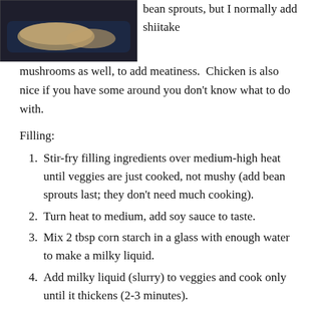[Figure (photo): Photo of spring rolls or egg rolls on a dark serving tray, partially cut off at top]
bean sprouts, but I normally add shiitake mushrooms as well, to add meatiness.  Chicken is also nice if you have some around you don't know what to do with.
Filling:
Stir-fry filling ingredients over medium-high heat until veggies are just cooked, not mushy (add bean sprouts last; they don't need much cooking).
Turn heat to medium, add soy sauce to taste.
Mix 2 tbsp corn starch in a glass with enough water to make a milky liquid.
Add milky liquid (slurry) to veggies and cook only until it thickens (2-3 minutes).
Making the rolls – preheat oven first to 425 degrees: